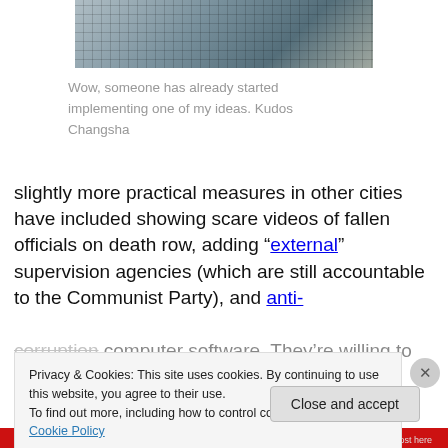[Figure (photo): Construction or building site photo showing scaffolding and structures, partially visible at the top of the page]
Wow, someone has already started implementing one of my ideas. Kudos Changsha
slightly more practical measures in other cities have included showing scare videos of fallen officials on death row, adding “external” supervision agencies (which are still accountable to the Communist Party), and anti-corruption computer software. They’re willing to try almost
Privacy & Cookies: This site uses cookies. By continuing to use this website, you agree to their use.
To find out more, including how to control cookies, see here: Cookie Policy
Close and accept